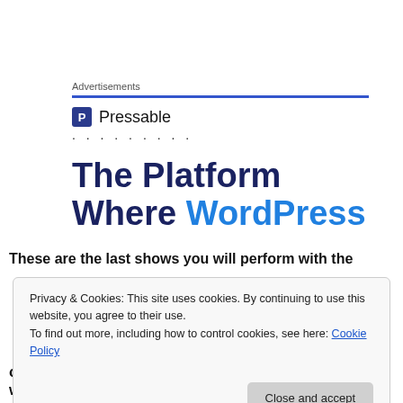Advertisements
[Figure (logo): Pressable logo with blue square P icon and text 'Pressable']
..........
The Platform Where WordPress
These are the last shows you will perform with the
Privacy & Cookies: This site uses cookies. By continuing to use this website, you agree to their use.
To find out more, including how to control cookies, see here: Cookie Policy
Close and accept
completely blessed, blessed to have been involved with